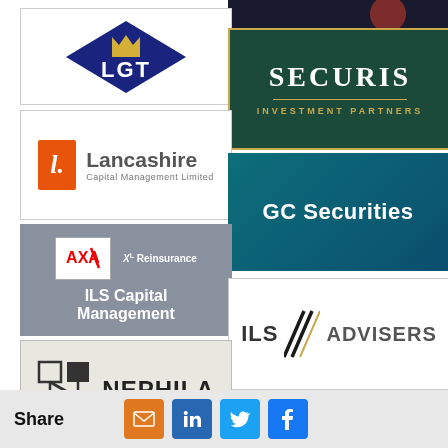[Figure (logo): LGT logo — blue diamond with crown and LGT text in white]
[Figure (logo): Securis Investment Partners logo — white text on dark green background with gold border]
[Figure (logo): Lancashire Capital Management Limited logo — orange square with L, large grey text]
[Figure (logo): GC Securities logo — white text on teal/blue gradient background]
[Figure (logo): AXA / XL Reinsurance ILS Capital Management logo — grey background with AXA and XL logos]
[Figure (logo): ILS Advisers logo — white background with diagonal lines motif]
[Figure (logo): Nephila logo — light grey background with geometric N logo and NEPHILA text]
[Figure (logo): Synpulse MC logo — white background, orange synpulse text, solve·evolve tagline]
[Figure (logo): Partially visible logo at bottom right]
[Figure (logo): Partially visible dark image at top right]
Share